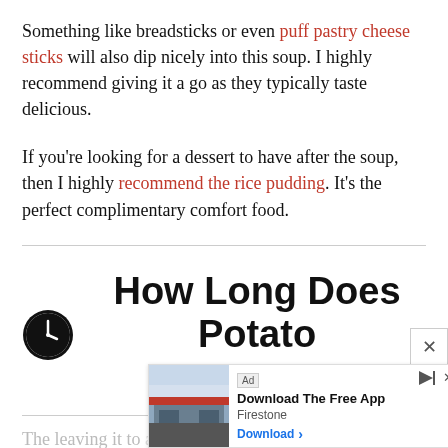Something like breadsticks or even puff pastry cheese sticks will also dip nicely into this soup. I highly recommend giving it a go as they typically taste delicious.
If you're looking for a dessert to have after the soup, then I highly recommend the rice pudding. It's the perfect complimentary comfort food.
How Long Does Potato Soup Last
The le... last three d... r, I
[Figure (other): Advertisement banner: Firestone 'Download The Free App' with a photo of a Firestone store, Ad label, play/close icons, and a Download button.]